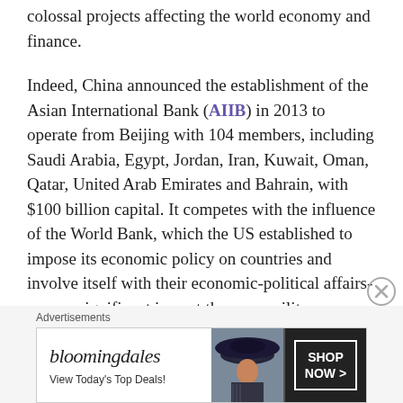colossal projects affecting the world economy and finance.
Indeed, China announced the establishment of the Asian International Bank (AIIB) in 2013 to operate from Beijing with 104 members, including Saudi Arabia, Egypt, Jordan, Iran, Kuwait, Oman, Qatar, United Arab Emirates and Bahrain, with $100 billion capital. It competes with the influence of the World Bank, which the US established to impose its economic policy on countries and involve itself with their economic-political affairs- a more significant impact than any military intervention
[Figure (other): Bloomingdale's advertisement banner with logo, 'View Today's Top Deals!' text, woman wearing a wide-brim hat, and 'SHOP NOW >' button]